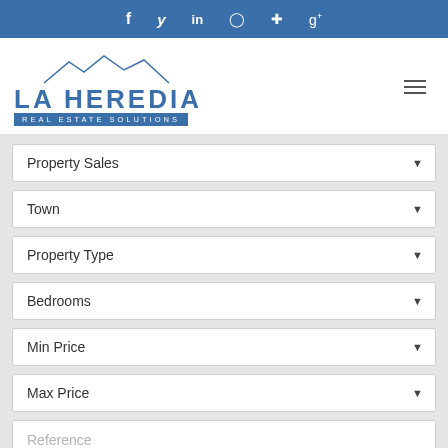Social bar with icons: f, twitter, in, instagram, pinterest, g+
[Figure (logo): La Heredia Real Estate Solutions logo with mountain silhouette above text]
Property Sales
Town
Property Type
Bedrooms
Min Price
Max Price
Reference